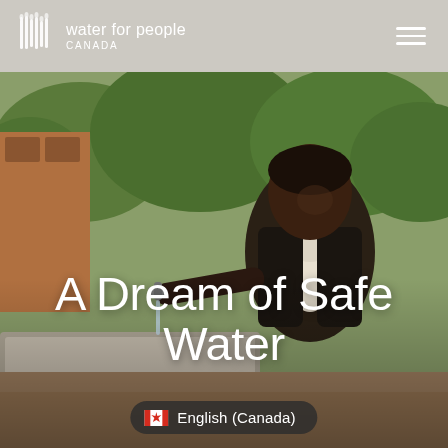water for people CANADA
[Figure (photo): A young woman smiling and holding a water tap at a concrete water trough, with green trees and brick building in the background]
A Dream of Safe Water
🇨🇦 English (Canada)